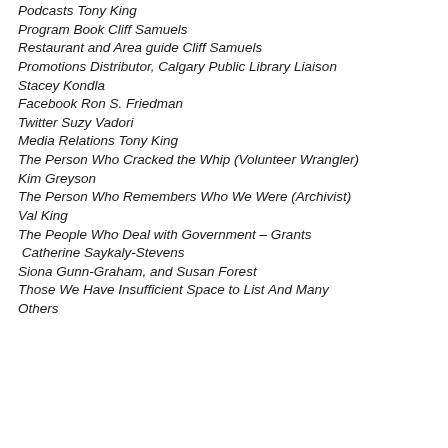Podcasts  Tony King
Program Book  Cliff Samuels
Restaurant and Area guide Cliff Samuels
Promotions Distributor, Calgary Public Library Liaison Stacey Kondla
Facebook Ron S. Friedman
Twitter Suzy Vadori
Media Relations Tony King
The Person Who Cracked the Whip (Volunteer Wrangler) Kim Greyson
The Person Who Remembers Who We Were (Archivist) Val King
The People Who Deal with Government – Grants  Catherine Saykaly-Stevens
Siona Gunn-Graham, and Susan Forest
Those We Have Insufficient Space to List And Many Others